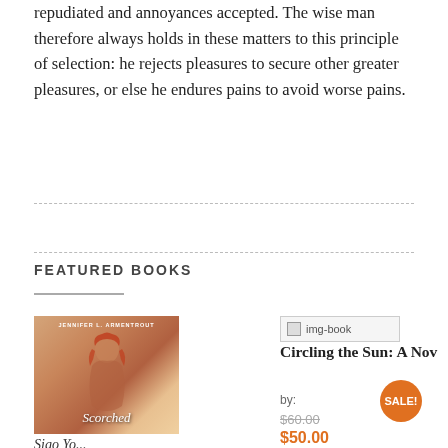repudiated and annoyances accepted. The wise man therefore always holds in these matters to this principle of selection: he rejects pleasures to secure other greater pleasures, or else he endures pains to avoid worse pains.
FEATURED BOOKS
[Figure (photo): Book cover of 'Scorched' by Jennifer L. Armentrout, showing a woman with red hair against a warm background]
Sigo Yo...
[Figure (photo): Placeholder image for a book cover (img-book)]
Circling the Sun: A Nov
by:
$60.00
$50.00